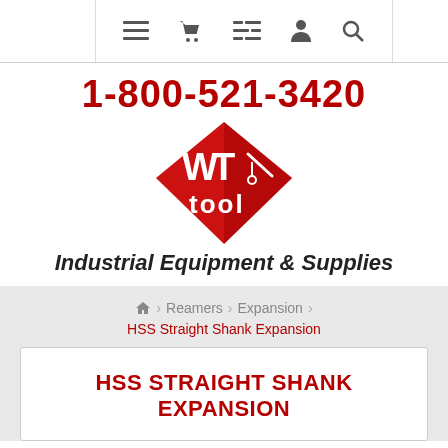[Figure (screenshot): Website navigation bar with icons for menu, cart, list, account, and search]
1-800-521-3420
[Figure (logo): WT Tool logo — red diamond shape with WT Tool text and tool icon in white]
Industrial Equipment & Supplies
Home > Reamers > Expansion >
HSS Straight Shank Expansion
HSS STRAIGHT SHANK EXPANSION